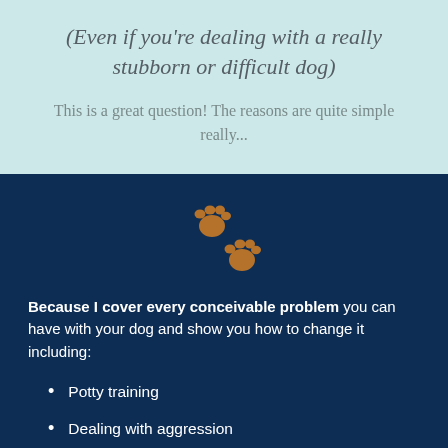(Even if you're dealing with a really stubborn or difficult dog)
This is a great question! The reasons are quite simple really...
[Figure (illustration): Two brown paw print icons on dark navy background]
Because I cover every conceivable problem you can have with your dog and show you how to change it including:
Potty training
Dealing with aggression
Jumping
Digging